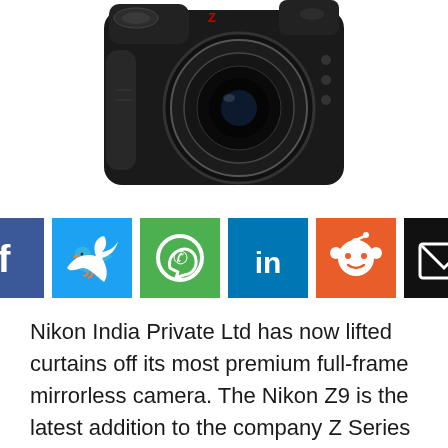[Figure (photo): Nikon Z9 mirrorless camera, black body with large lens, viewed from front-left angle on white background]
[Figure (infographic): Row of six social share buttons: Facebook (dark blue, f), Twitter (light blue, bird), WhatsApp (green, phone), LinkedIn (medium blue, in), Reddit (orange, alien), Email (black, envelope)]
Nikon India Private Ltd has now lifted curtains off its most premium full-frame mirrorless camera. The Nikon Z9 is the latest addition to the company Z Series in the Indian market. The new mirrorless camera by Nikon comes with flagship-level features like 45.7 effective megapixels stacked CMOS sensor that is said to achieve 12 times faster still